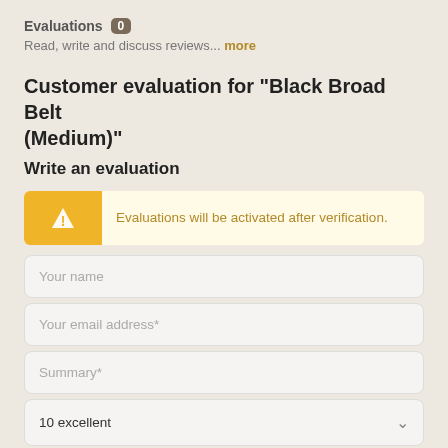Evaluations 0
Read, write and discuss reviews... more
Customer evaluation for "Black Broad Belt (Medium)"
Write an evaluation
Evaluations will be activated after verification.
Your name
Your email address*
Summary*
10 excellent
Your opinion